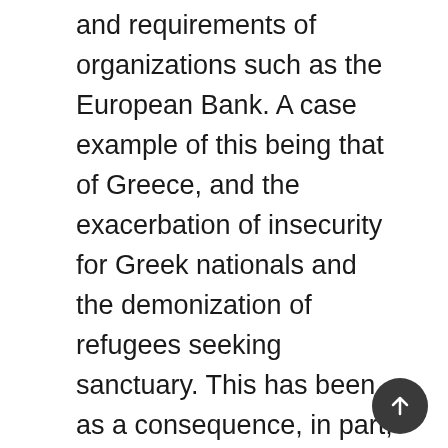and requirements of organizations such as the European Bank. A case example of this being that of Greece, and the exacerbation of insecurity for Greek nationals and the demonization of refugees seeking sanctuary. This has been as a consequence, in part, of the neoliberal dogma of the European Bank. The article analyses the complex intersection of the real and perceived threats of international terrorism and the manner in which UK migration policy and Practice is unfolding. The policy and practice developments are explored in the context of the shift in politics in both the UK and wider Europe to the far right and the drift of main stream political parties to the right. In many cases, the mainstream political groupings, have co-opted the fears as presented by far right organization for political their own political gains, such as in the UK and France In its analysis it will be argued that, whilst international terrorism is an issue of concern, however